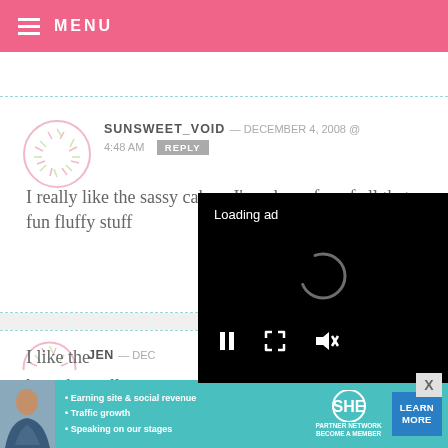MENU
SUNSWEET_VOID — DECEMBER 4, 2008 @ 4:48 AM  REPLY
I really like the sassy cake – I'm a huge fan of all that fun fluffy stuff
JEN — DEC…
I like the… love them all
[Figure (screenshot): Loading ad video overlay with spinner, pause button, fullscreen button, and mute button on black background]
[Figure (infographic): SHE Partner Network bottom banner ad with bullet points: Earning site & social revenue, Traffic growth, Speaking on our stages. LEARN MORE button.]